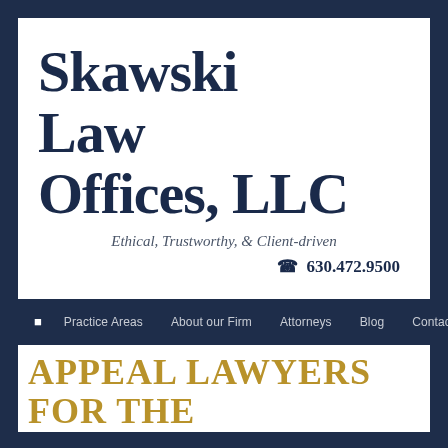Skawski Law Offices, LLC
Ethical, Trustworthy, & Client-driven
☎ 630.472.9500
Practice Areas
About our Firm
Attorneys
Blog
Contact Us
Appeal Lawyers for the